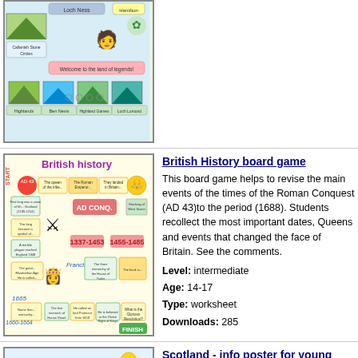[Figure (illustration): Partial thumbnail of a Scotland interactive resource showing a map with locations like Highlands, Ben Nevis, Highland Games, Loch Lomond]
[Figure (illustration): Thumbnail of British history board game showing a colorful snakes-and-ladders style board game from AD 43 to 1688 with historical events]
British History board game
This board game helps to revise the main events of the times of the Roman Conquest (AD 43)to the period (1688). Students recollect the most important dates, Queens and events that changed the face of Britain. See the comments.
Level: intermediate
Age: 14-17
Type: worksheet
Downloads: 285
[Figure (illustration): Partial thumbnail of Scotland info poster for young learners 4 showing Scotland Highlands text with bagpiper illustration]
Scotland - info poster for young learners 4
The 4th part of a poster about Scotland depicts Sco...
Level: elementary